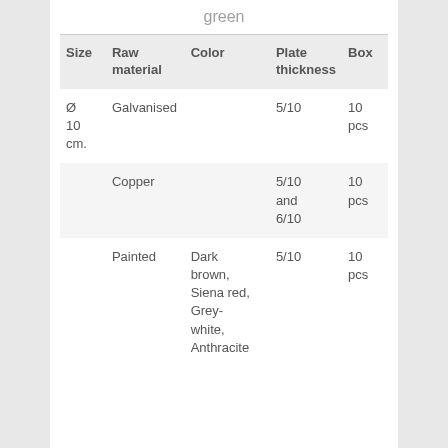green
| Size | Raw material | Color | Plate thickness | Box |
| --- | --- | --- | --- | --- |
| Ø 10 cm. | Galvanised |  | 5/10 | 10 pcs |
|  | Copper |  | 5/10 and 6/10 | 10 pcs |
|  | Painted | Dark brown, Siena red, Grey-white, Anthracite | 5/10 | 10 pcs |